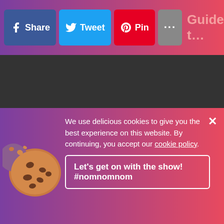[Figure (screenshot): Navigation bar with Facebook Share, Twitter Tweet, Pinterest Pin, More (...) buttons, and Guide t... title with hamburger menu]
[Figure (illustration): Dark background with handwritten text at top and Follow us: label with social media icons: Telegram, Twitter, Facebook, Pinterest (row 1), Instagram, YouTube, LinkedIn, Tumblr, Flickr, RSS (row 2)]
[Figure (screenshot): Cookie consent banner with cookie emoji image, text about delicious cookies policy, close button, and accept button saying Let's get on with the show! #nomnomnom]